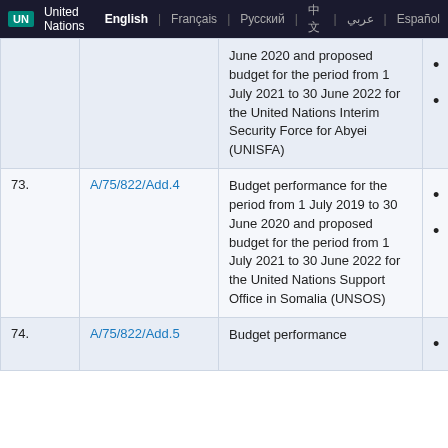UN United Nations English | Français | Русский | 中文 | عربي | Español
| # | Document | Description |  |
| --- | --- | --- | --- |
|  |  | June 2020 and proposed budget for the period from 1 July 2021 to 30 June 2022 for the United Nations Interim Security Force for Abyei (UNISFA) | • • |
| 73. | A/75/822/Add.4 | Budget performance for the period from 1 July 2019 to 30 June 2020 and proposed budget for the period from 1 July 2021 to 30 June 2022 for the United Nations Support Office in Somalia (UNSOS) | • • |
| 74. | A/75/822/Add.5 | Budget performance | • |